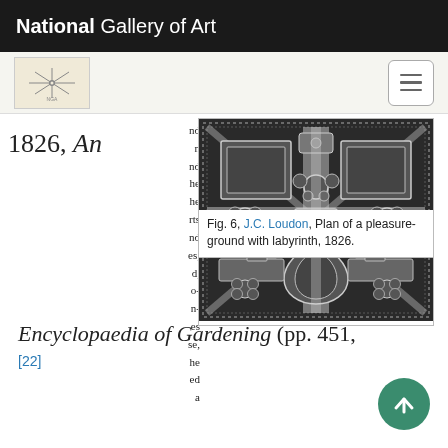National Gallery of Art
1826, An
[Figure (illustration): Scanned image of a garden plan from J.C. Loudon showing a pleasure-ground with labyrinth design, 1826, with symmetrical geometric patterns, crosses, and floral motifs in black and white engraving style. Partial text visible on left margin of the page.]
Fig. 6, J.C. Loudon, Plan of a pleasure-ground with labyrinth, 1826.
Encyclopaedia of Gardening (pp. 451,
[22]